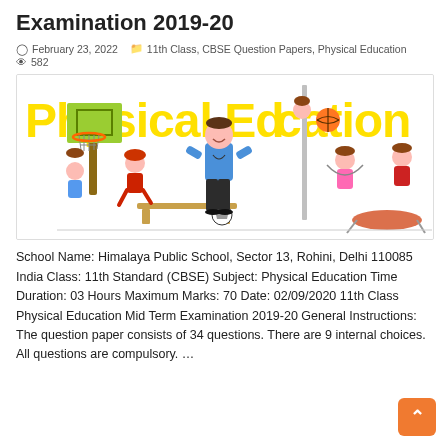Examination 2019-20
February 23, 2022   11th Class, CBSE Question Papers, Physical Education   582
[Figure (illustration): Physical Education banner illustration with text 'Physical Education' in yellow block letters, a male teacher/coach in blue shirt and black pants, surrounded by cartoon children doing various sports activities. A basketball hoop is visible on the left, a child climbing a pole, another jumping rope, soccer ball on the ground, and a trampoline on the right.]
School Name: Himalaya Public School, Sector 13, Rohini, Delhi 110085 India Class: 11th Standard (CBSE) Subject: Physical Education Time Duration: 03 Hours Maximum Marks: 70 Date: 02/09/2020 11th Class Physical Education Mid Term Examination 2019-20 General Instructions: The question paper consists of 34 questions. There are 9 internal choices. All questions are compulsory. …